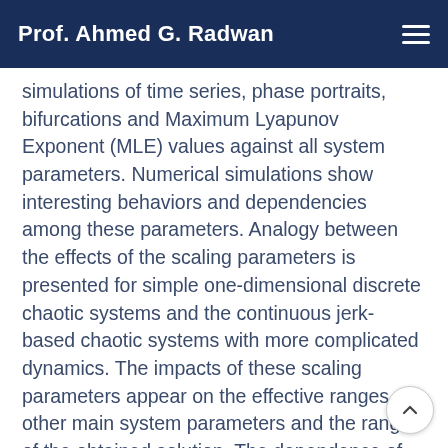Prof. Ahmed G. Radwan
simulations of time series, phase portraits, bifurcations and Maximum Lyapunov Exponent (MLE) values against all system parameters. Numerical simulations show interesting behaviors and dependencies among these parameters. Analogy between the effects of the scaling parameters is presented for simple one-dimensional discrete chaotic systems and the continuous jerk-based chaotic systems with more complicated dynamics. The impacts of these scaling parameters appear on the effective ranges of other main system parameters and the ranges of the obtained solution. The dependence of equilibrium points on the sign of one of the scaling parameters results in coexisting attractors according to the signs of the parameter and the initial point. In addition, switching can be used to generate double-scroll attractors. Moreov